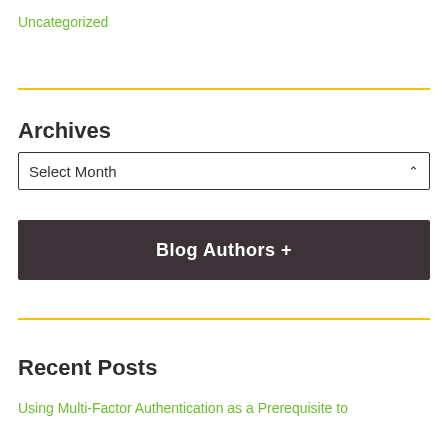Uncategorized
Archives
Select Month
Blog Authors +
Recent Posts
Using Multi-Factor Authentication as a Prerequisite to